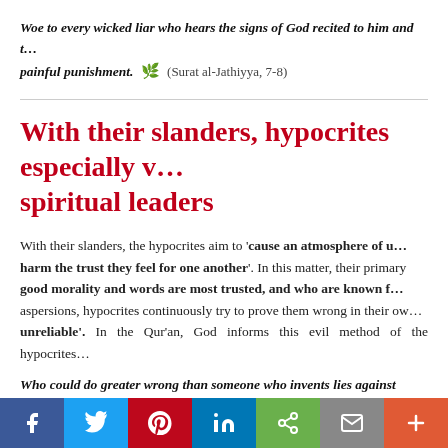Woe to every wicked liar who hears the signs of God recited to him and then persists in his arrogance as if he had not heard them. Give him the news of a painful punishment. ✦ (Surat al-Jathiyya, 7-8)
With their slanders, hypocrites especially want to harm spiritual leaders
With their slanders, the hypocrites aim to 'cause an atmosphere of unease among believers and harm the trust they feel for one another'. In this matter, their primary targets are people of good morality and words are most trusted, and who are known for their trustworthiness. By casting aspersions, hypocrites continuously try to prove them wrong in their own circles and portray them as 'unreliable'. In the Qur'an, God informs this evil method of the hypocrites:
Who could do greater wrong than someone who invents lies against Go...
f  Twitter  Pinterest  in  oo  Mail  +